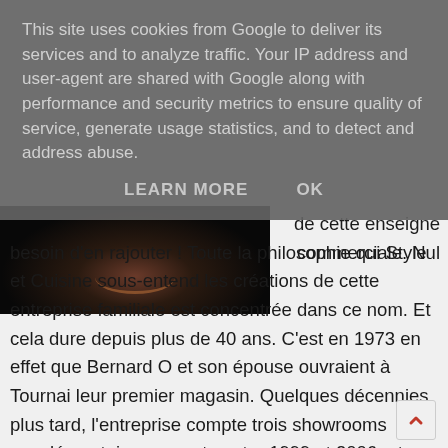This site uses cookies from Google to deliver its services and to analyze traffic. Your IP address and user-agent are shared with Google along with performance and security metrics to ensure quality of service, generate usage statistics, and to detect and address abuse.
LEARN MORE    OK
[Figure (photo): Dark/black image, partially visible, appears to show a dark background with a faint orange glow]
de cette enseigne commerciale. Nul besoin d'en rajouter ! Toute la philosophie qui Style et Cuisine sous-entend les créations de cette entreprise familiale est concentrée dans ce nom. Et cela dure depuis plus de 40 ans. C'est en 1973 en effet que Bernard O et son épouse ouvraient à Tournai leur premier magasin. Quelques décennies plus tard, l'entreprise compte trois showrooms supplémentaires, ouverts entre 1999 et 2006, et une trentaine d'employés dont les quatre enfants du couple (deux filles sont d'ailleurs architectes d'intérieur). Un très grand choix de modèles Parce qu'elle est devenue ce lieu de vie au coeur de la maison, la cuisine mér...